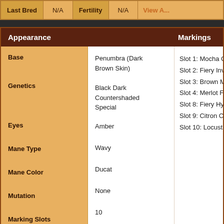| Last Bred | N/A | Fertility | N/A | View A... |
| --- | --- | --- | --- | --- |
| Appearance |  | Markings |
| --- | --- | --- |
| Base | Penumbra (Dark Brown Skin) | Slot 1: Mocha Cowl (5...
Slot 2: Fiery Inverted...
Slot 3: Brown Mask (8...
Slot 4: Merlot Feline (...
Slot 8: Fiery Hyena Un...
Slot 9: Citron Crackle...
Slot 10: Locust Dappl... |
| Genetics | Black Dark Countershaded Special |  |
| Eyes | Amber |  |
| Mane Type | Wavy |  |
| Mane Color | Ducat |  |
| Mutation | None |  |
| Marking Slots | 10 |  |